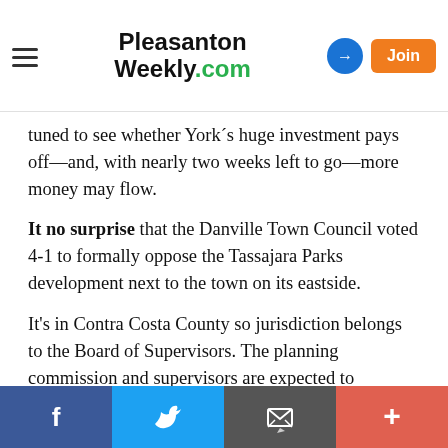Pleasanton Weekly.com
tuned to see whether York´s huge investment pays off—and, with nearly two weeks left to go—more money may flow.
It no surprise that the Danville Town Council voted 4-1 to formally oppose the Tassajara Parks development next to the town on its eastside.
It's in Contra Costa County so jurisdiction belongs to the Board of Supervisors. The planning commission and supervisors are expected to consider the project in the coming weeks.
An approval will require moving the county's urban limit line to accommodate the project.
Share bar: Facebook, Twitter, Email, More